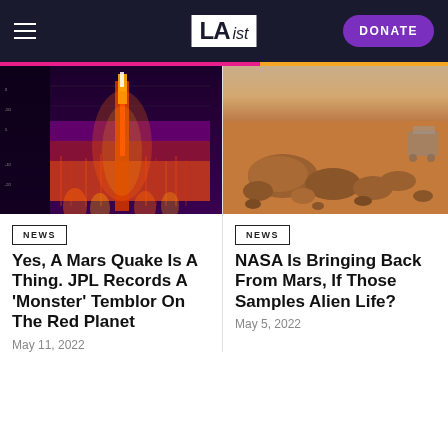LAist — DONATE
[Figure (photo): Spectrogram of a Mars seismic event — dark purple background with orange-yellow waveform spike in the center-left, vertical frequency lines below]
NEWS
Yes, A Mars Quake Is A Thing. JPL Records A 'Monster' Temblor On The Red Planet
May 11, 2022
[Figure (photo): Photo of the Martian surface with reddish-brown rocks and sandy terrain, NASA Perseverance rover visible in the background]
NEWS
NASA Is Bringing Back From Mars, If Those Samples Alien Life?
May 5, 2022